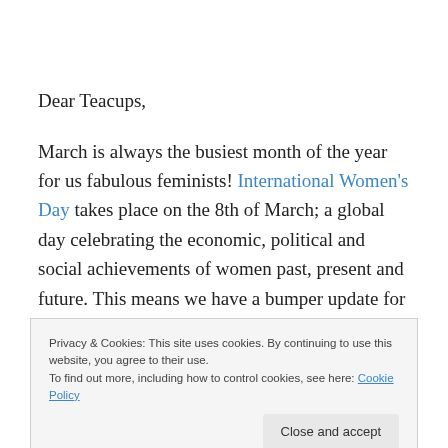Dear Teacups,
March is always the busiest month of the year for us fabulous feminists! International Women's Day takes place on the 8th of March; a global day celebrating the economic, political and social achievements of women past, present and future. This means we have a bumper update for you this month – with many inspiring and
Privacy & Cookies: This site uses cookies. By continuing to use this website, you agree to their use.
To find out more, including how to control cookies, see here: Cookie Policy
Close and accept
March 2014.Their mission is to create a space for all